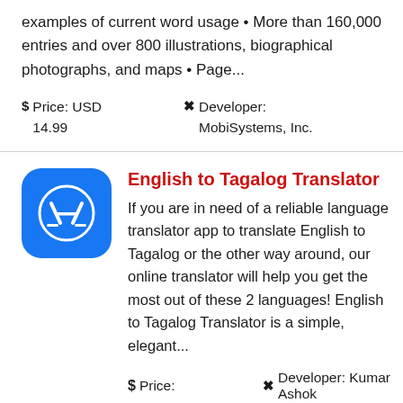examples of current word usage • More than 160,000 entries and over 800 illustrations, biographical photographs, and maps • Page...
$ Price: USD 14.99    ✖ Developer: MobiSystems, Inc.
[Figure (logo): Blue rounded square app icon with white App Store logo (letter A with lines)]
English to Tagalog Translator
If you are in need of a reliable language translator app to translate English to Tagalog or the other way around, our online translator will help you get the most out of these 2 languages! English to Tagalog Translator is a simple, elegant...
$ Price:    ✖ Developer: Kumar Ashok